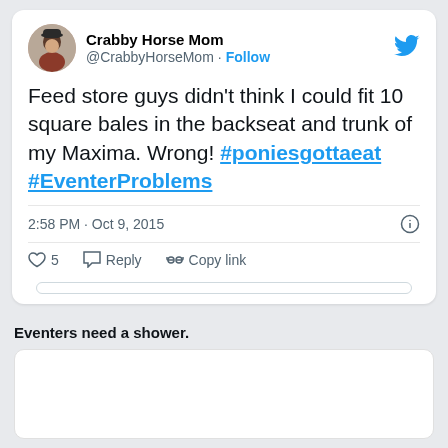[Figure (screenshot): Tweet screenshot from Crabby Horse Mom (@CrabbyHorseMom) with Follow button and Twitter bird logo. Tweet text: Feed store guys didn't think I could fit 10 square bales in the backseat and trunk of my Maxima. Wrong! #poniesgottaeat #EventerProblems. Time: 2:58 PM · Oct 9, 2015. Actions: heart 5, Reply, Copy link. Embed button partially visible.]
Eventers need a shower.